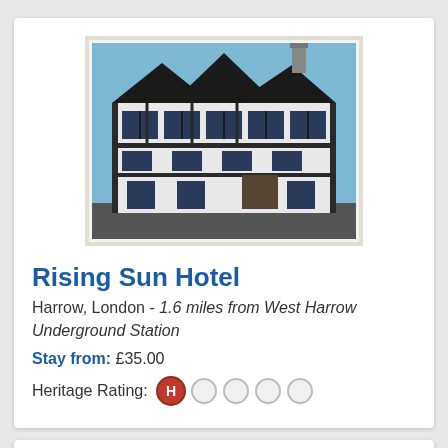[Figure (photo): Exterior photo of Rising Sun Hotel, a Tudor-style building with dark timber framing, white render, and multiple gabled windows, shot from below against a blue sky.]
Rising Sun Hotel
Harrow, London - 1.6 miles from West Harrow Underground Station
Stay from: £35.00
Heritage Rating: H (1 out of 5 circles filled)
[Figure (photo): Interior photo showing an ornate wooden furniture piece, likely an antique hall stand or reception desk in a hotel lobby.]